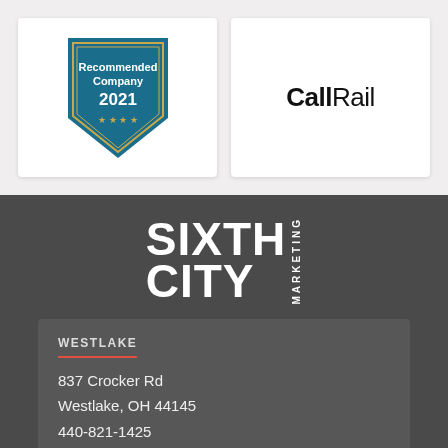[Figure (logo): Recommended Company 2021 badge/shield with teal and gold colors]
[Figure (logo): CallRail logo in bold/light black text]
[Figure (logo): Sixth City Marketing logo in white bold text on dark gray background]
WESTLAKE
837 Crocker Rd
Westlake, OH 44145
440-821-1425